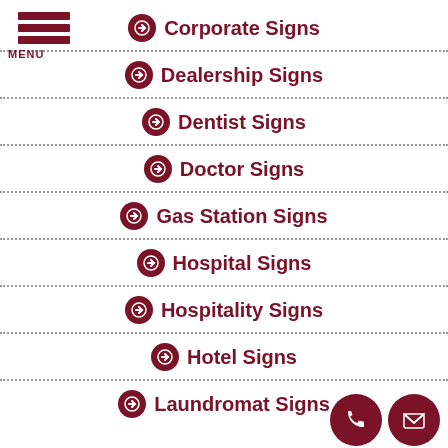[Figure (other): Hamburger menu icon with three dark red bars and MENU label below]
Corporate Signs
Dealership Signs
Dentist Signs
Doctor Signs
Gas Station Signs
Hospital Signs
Hospitality Signs
Hotel Signs
Laundromat Signs
[Figure (other): Phone icon circle (dark red) and envelope/mail icon circle (dark red) in bottom right corner]